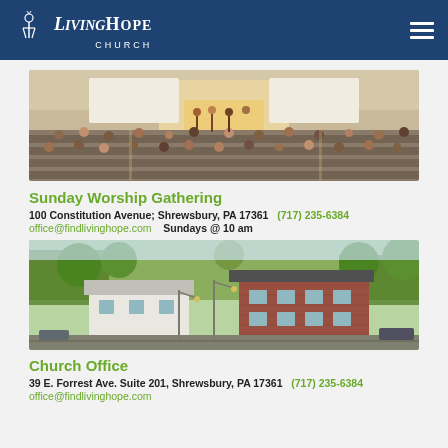Living Hope Church
[Figure (photo): Interior of a church worship hall with rows of people seated facing a stage with performers and large screens.]
Sunday Worship Gathering
100 Constitution Avenue; Shrewsbury, PA 17361    (717) 235-6384
office@findlivinghope.com    Sundays @ 10 am
[Figure (photo): Exterior aerial view of a town showing brick buildings, white houses, trees, and streets in Shrewsbury PA.]
Church Office
39 E. Forrest Ave. Suite 201, Shrewsbury, PA 17361    (717) 235-6384
office@findlivinghope.com